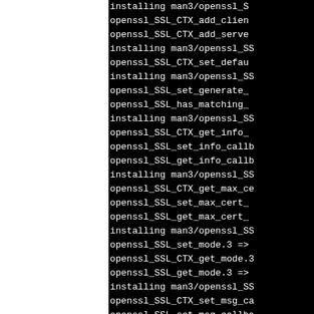installing man3/openssl_SSL_CTX_add_client... openssl_SSL_CTX_add_client openssl_SSL_CTX_add_server installing man3/openssl_SS openssl_SSL_CTX_set_defau installing man3/openssl_SS openssl_SSL_set_generate_s openssl_SSL_has_matching_s installing man3/openssl_SS openssl_SSL_CTX_get_info_c openssl_SSL_set_info_callb openssl_SSL_get_info_callb installing man3/openssl_SS openssl_SSL_CTX_get_max_ce openssl_SSL_set_max_cert_ openssl_SSL_get_max_cert_ installing man3/openssl_SS openssl_SSL_set_mode.3 => openssl_SSL_CTX_get_mode.3 openssl_SSL_get_mode.3 => installing man3/openssl_SS openssl_SSL_CTX_set_msg_ca openssl_SSL_set_msg_callba openssl_SSL_get_msg_callba installing man3/openssl_SS